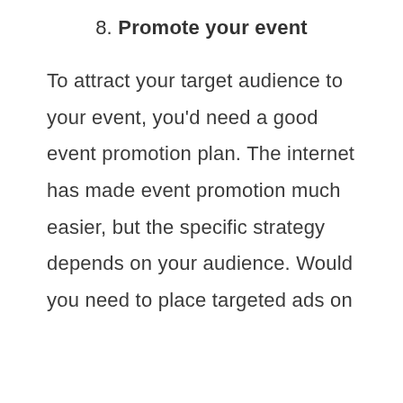8. Promote your event
To attract your target audience to your event, you'd need a good event promotion plan. The internet has made event promotion much easier, but the specific strategy depends on your audience. Would you need to place targeted ads on